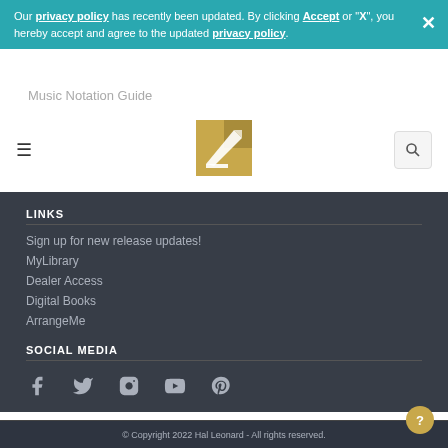Our privacy policy has recently been updated. By clicking Accept or "X", you hereby accept and agree to the updated privacy policy.
Engraving
Music Notation Guide
[Figure (logo): Hal Leonard logo - gold stylized musical note/pen on square background]
LINKS
Sign up for new release updates!
MyLibrary
Dealer Access
Digital Books
ArrangeMe
SOCIAL MEDIA
[Figure (infographic): Social media icons: Facebook, Twitter, Instagram, YouTube, Pinterest]
© Copyright 2022 Hal Leonard - All rights reserved.